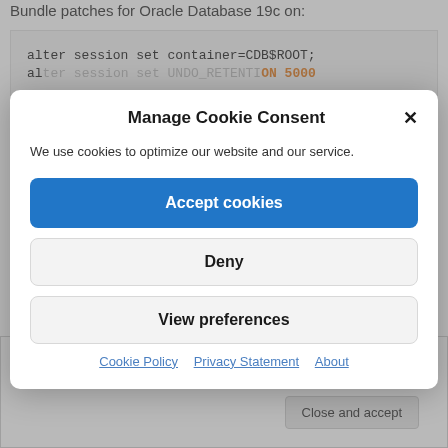Bundle patches for Oracle Database 19c on:
alter session set container=CDB$ROOT;
Manage Cookie Consent
We use cookies to optimize our website and our service.
Accept cookies
Deny
View preferences
Cookie Policy  Privacy Statement  About
Close and accept